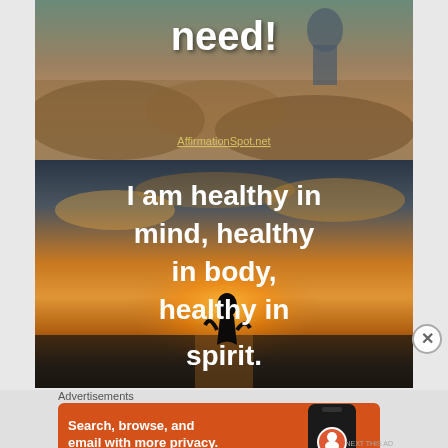[Figure (photo): Top portion of motivational image showing rocky landscape with text 'need!' and AffirmationSpot.net URL overlay]
[Figure (photo): Sunset silhouette photo with motivational text overlay reading: I am healthy in mind, healthy in body, healthy in spirit.]
Advertisements
[Figure (other): DuckDuckGo advertisement banner: Search, browse, and email with more privacy. All in One Free App. Shows DuckDuckGo logo and phone graphic.]